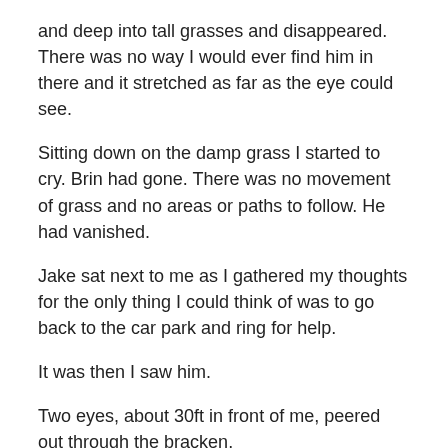and deep into tall grasses and disappeared. There was no way I would ever find him in there and it stretched as far as the eye could see.
Sitting down on the damp grass I started to cry. Brin had gone. There was no movement of grass and no areas or paths to follow. He had vanished.
Jake sat next to me as I gathered my thoughts for the only thing I could think of was to go back to the car park and ring for help.
It was then I saw him.
Two eyes, about 30ft in front of me, peered out through the bracken.
Remembering something I saw on a programme many